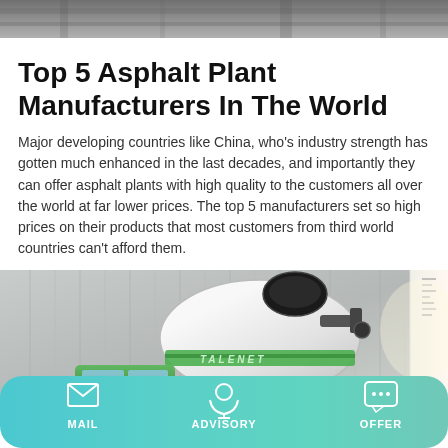[Figure (photo): Top partial image of asphalt plant or industrial equipment, grayscale/muted tones]
Top 5 Asphalt Plant Manufacturers In The World
Major developing countries like China, who's industry strength has gotten much enhanced in the last decades, and importantly they can offer asphalt plants with high quality to the customers all over the world at far lower prices. The top 5 manufacturers set so high prices on their products that most customers from third world countries can't afford them.
Learn More
[Figure (photo): Green TALENET branded concrete mixer truck / machinery, parked near a corrugated metal wall]
MAIL   ADVISORY   OFFER